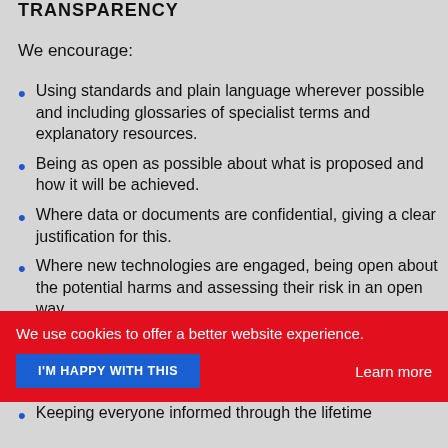TRANSPARENCY
We encourage:
Using standards and plain language wherever possible and including glossaries of specialist terms and explanatory resources.
Being as open as possible about what is proposed and how it will be achieved.
Where data or documents are confidential, giving a clear justification for this.
Where new technologies are engaged, being open about the potential harms and assessing their risk in an open way.
We use cookies to offer a better website experience.
I'M HAPPY WITH THIS
Learn more
Keeping everyone informed through the lifetime